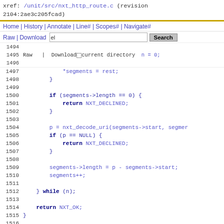xref: /unit/src/nxt_http_route.c (revision 2104:2ae3c205fcad)
Home | History | Annotate | Line# | Scopes# | Navigate#
Raw | Download [search box] Search
current directory  n = 0;
Code listing lines 1497-1519 of nxt_http_route.c